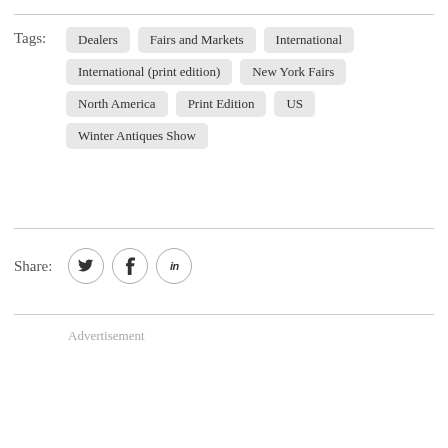Tags: Dealers, Fairs and Markets, International, International (print edition), New York Fairs, North America, Print Edition, US, Winter Antiques Show
Share:
Advertisement